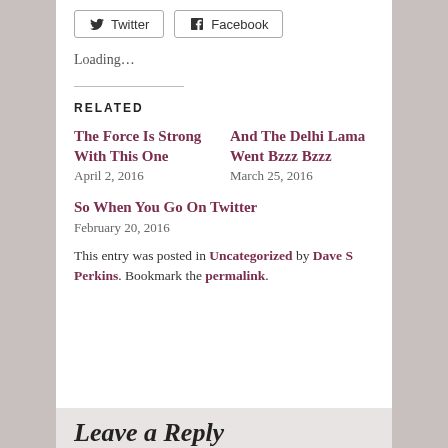Twitter  Facebook
Loading…
RELATED
The Force Is Strong With This One
April 2, 2016
And The Delhi Lama Went Bzzz Bzzz
March 25, 2016
So When You Go On Twitter
February 20, 2016
This entry was posted in Uncategorized by Dave S Perkins. Bookmark the permalink.
Leave a Reply